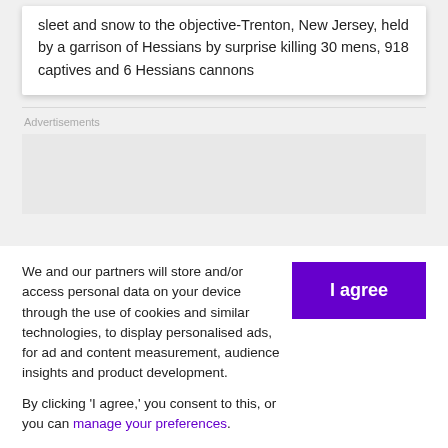sleet and snow to the objective-Trenton, New Jersey, held by a garrison of Hessians by surprise killing 30 mens, 918 captives and 6 Hessians cannons
Advertisements
We and our partners will store and/or access personal data on your device through the use of cookies and similar technologies, to display personalised ads, for ad and content measurement, audience insights and product development.

By clicking 'I agree,' you consent to this, or you can manage your preferences.